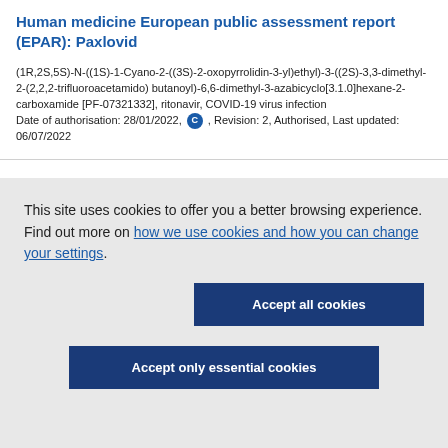Human medicine European public assessment report (EPAR): Paxlovid
(1R,2S,5S)-N-((1S)-1-Cyano-2-((3S)-2-oxopyrrolidin-3-yl)ethyl)-3-((2S)-3,3-dimethyl-2-(2,2,2-trifluoroacetamido) butanoyl)-6,6-dimethyl-3-azabicyclo[3.1.0]hexane-2-carboxamide [PF-07321332], ritonavir, COVID-19 virus infection
Date of authorisation: 28/01/2022, [C], Revision: 2, Authorised, Last updated: 06/07/2022
This site uses cookies to offer you a better browsing experience. Find out more on how we use cookies and how you can change your settings.
Accept all cookies
Accept only essential cookies